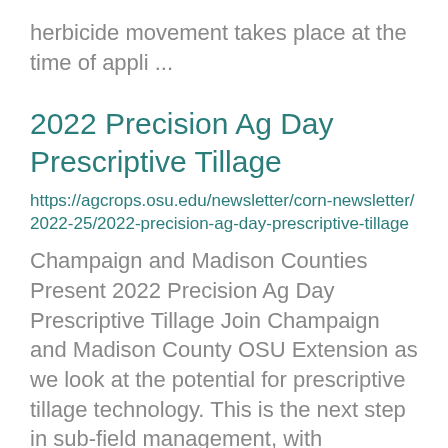herbicide movement takes place at the time of appli ...
2022 Precision Ag Day Prescriptive Tillage
https://agcrops.osu.edu/newsletter/corn-newsletter/2022-25/2022-precision-ag-day-prescriptive-tillage
Champaign and Madison Counties Present 2022 Precision Ag Day Prescriptive Tillage Join Champaign and Madison County OSU Extension as we look at the potential for prescriptive tillage technology. This is the next step in sub-field management, with implemen ...